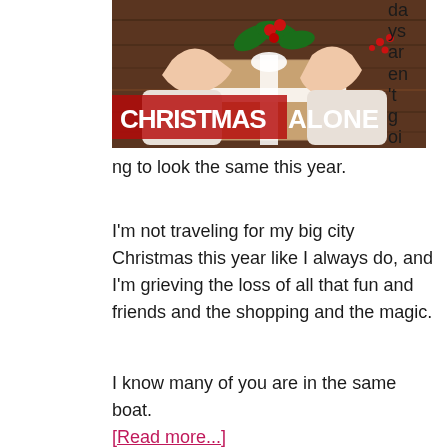[Figure (photo): Hands holding a Christmas gift wrapped in brown paper with holly and red berries on top, over a wooden surface. Text overlay reads 'CHRISTMAS ALONE' in red and white bold letters.]
days aren't goi
ng to look the same this year.
I'm not traveling for my big city Christmas this year like I always do, and I'm grieving the loss of all that fun and friends and the shopping and the magic.
I know many of you are in the same boat. [Read more...]